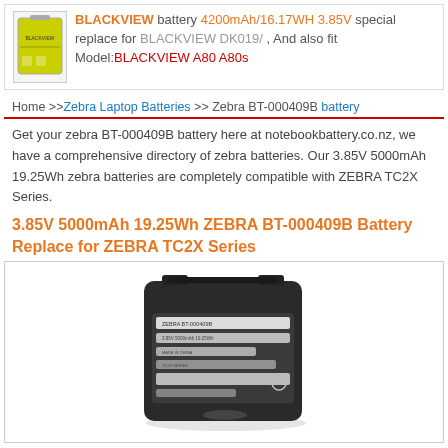BLACKVIEW battery 4200mAh/16.17WH 3.85V special replace for BLACKVIEW DK019/ , And also fit Model:BLACKVIEW A80 A80s
Home >>Zebra Laptop Batteries >> Zebra BT-000409B battery
Get your zebra BT-000409B battery here at notebookbattery.co.nz, we have a comprehensive directory of zebra batteries. Our 3.85V 5000mAh 19.25Wh zebra batteries are completely compatible with ZEBRA TC2X Series.
3.85V 5000mAh 19.25Wh ZEBRA BT-000409B Battery Replace for ZEBRA TC2X Series
[Figure (photo): Photo of a black Zebra BT-000409B battery pack for TC2X Series, shown at an angle with compliance labels visible on the back.]